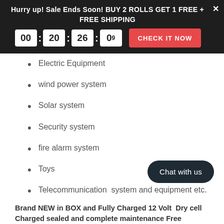Hurry up! Sale Ends Soon! BUY 2 ROLLS GET 1 FREE + FREE SHIPPING | 00 : 20 : 26 : 09 | CHECK IT NOW
Electric Equipment
wind power system
Solar system
Security system
fire alarm system
Toys
Telecommunication  system and equipment etc.
Portable power tools
Chat with us
Brand NEW in BOX and Fully Charged 12 Volt  Dry cell Charged sealed and complete maintenance Free